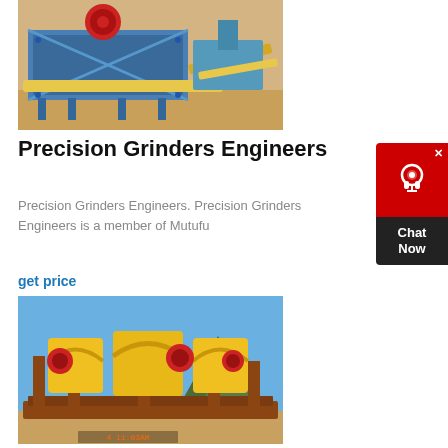[Figure (photo): Industrial mining/crushing machinery with blue frame and red circular crusher head, conveyor belts, sandy outdoor setting]
Precision Grinders Engineers
Precision Grinders Engineers. Precision Grinders Engineers is a member of Mutufu
get price
[Figure (photo): Large yellow and rust-colored industrial crushing/grinding machinery on a steel frame structure outdoors, with blue sky and mountain in background, timestamp 4 11:03AM]